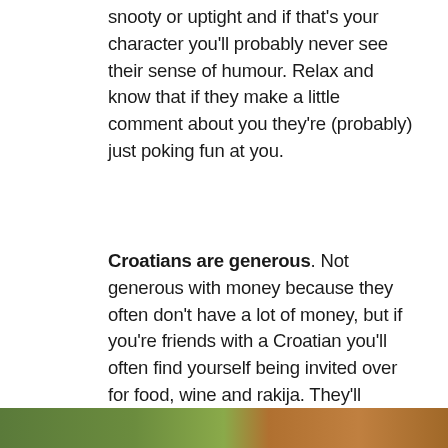snooty or uptight and if that's your character you'll probably never see their sense of humour. Relax and know that if they make a little comment about you they're (probably) just poking fun at you.
Croatians are generous. Not generous with money because they often don't have a lot of money, but if you're friends with a Croatian you'll often find yourself being invited over for food, wine and rakija. They'll always be too much food and drink on the table. You might have your Croatian friends unexpectedly bring you some fruits or a homemade cake.
[Figure (photo): Partial image strip visible at the bottom of the page showing food items, partially cropped]